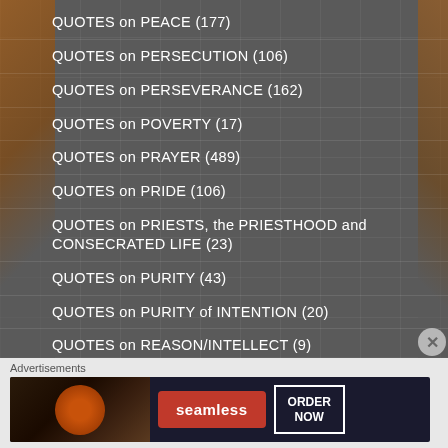QUOTES on PEACE (177)
QUOTES on PERSECUTION (106)
QUOTES on PERSEVERANCE (162)
QUOTES on POVERTY (17)
QUOTES on PRAYER (489)
QUOTES on PRIDE (106)
QUOTES on PRIESTS, the PRIESTHOOD and CONSECRATED LIFE (23)
QUOTES on PURITY (43)
QUOTES on PURITY of INTENTION (20)
QUOTES on REASON/INTELLECT (9)
Advertisements
[Figure (other): Seamless food delivery advertisement banner showing pizza and ORDER NOW button]